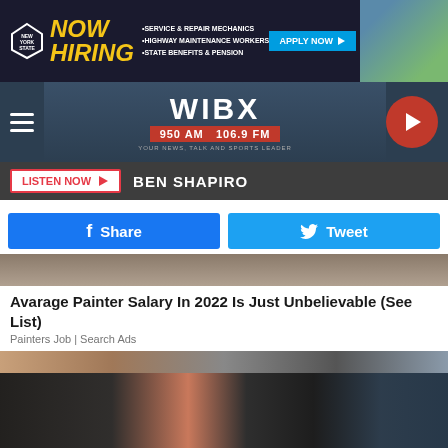[Figure (screenshot): New York State Now Hiring banner ad with yellow bold text, listing Service & Repair Mechanics, Highway Maintenance Workers, State Benefits & Pension, with Apply Now button and outdoor workers photo]
[Figure (screenshot): WIBX 950 AM 106.9 FM radio station header with hamburger menu, station logo, frequency badge, tagline, and red play button]
LISTEN NOW  BEN SHAPIRO
Share  Tweet
[Figure (photo): Partial top edge of a horizontal image, brownish-grey tones]
Avarage Painter Salary In 2022 Is Just Unbelievable (See List)
Painters Job | Search Ads
[Figure (photo): Group photo of five professionals (four men, one woman) standing in front of portrait paintings on a wood-paneled wall]
[Figure (screenshot): New York State Now Hiring banner ad at bottom of page]